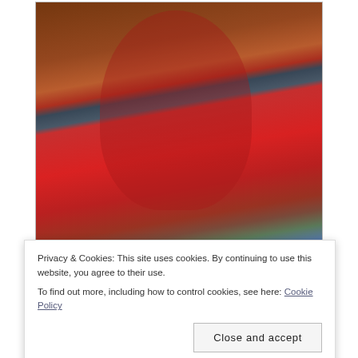[Figure (photo): A woman in a red sweater adjusting a horse's bridle/saddle, close-up photo showing her hands and the brown horse's head/neck]
Liana was a bit hot on the day but was good to her kid and very obedient. There was a minor miscommunication between the kid and the pony regarding which way to turn after the last fence during
Privacy & Cookies: This site uses cookies. By continuing to use this website, you agree to their use.
To find out more, including how to control cookies, see here: Cookie Policy
Close and accept
stuck on during the second class but got a little lost,